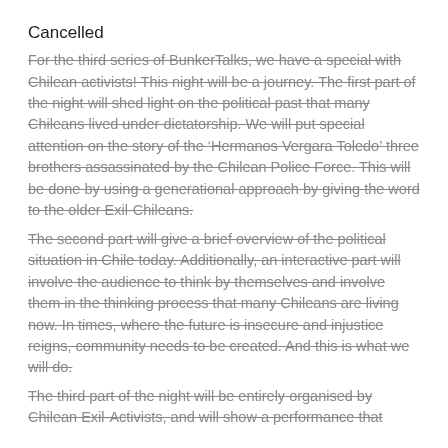Cancelled
For the third series of BunkerTalks, we have a special with Chilean activists! This night will be a journey. The first part of the night will shed light on the political past that many Chileans lived under dictatorship. We will put special attention on the story of the ‘Hermanos Vergara Toledo’ three brothers assassinated by the Chilean Police Force. This will be done by using a generational approach by giving the word to the older Exil-Chileans.
The second part will give a brief overview of the political situation in Chile today. Additionally, an interactive part will involve the audience to think by themselves and involve them in the thinking process that many Chileans are living now. In times, where the future is insecure and injustice reigns, community needs to be created. And this is what we will do.
The third part of the night will be entirely organised by Chilean Exil-Activists, and will show a performance that